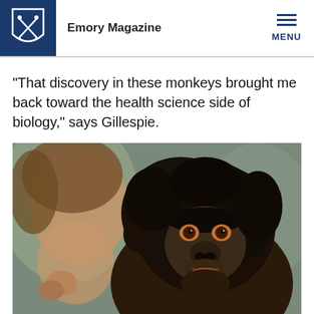Emory Magazine
“That discovery in these monkeys brought me back toward the health science side of biology,” says Gillespie.
[Figure (photo): Close-up photo of a young chimpanzee or bonobo facing the camera with a human partially visible in the blurred background on the left side.]